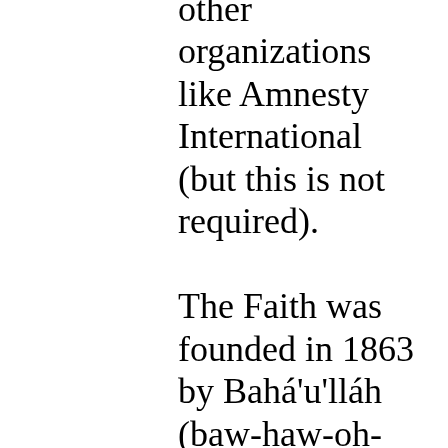other organizations like Amnesty International (but this is not required). The Faith was founded in 1863 by Bahá'u'lláh (baw-haw-oh-LAW), which in